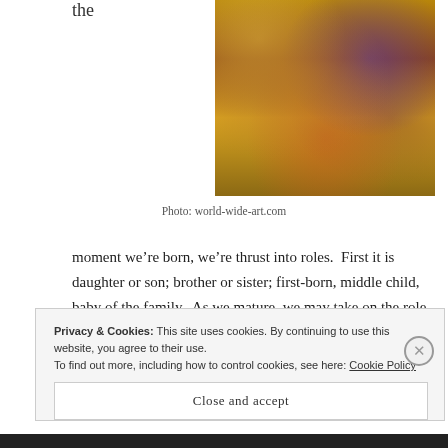the
[Figure (photo): A painting depicting many medieval/Renaissance figures including royalty and nobles gathered together, richly colored in golds, blues, reds and purples.]
Photo: world-wide-art.com
moment we’re born, we’re thrust into roles.  First it is daughter or son; brother or sister; first-born, middle child, baby of the family.  As we mature, we may take on the role of friend, confidant.  The roles start to get meatier, more substantial as we age.  Roles you can really sink your teeth into.  Husband, wife; mother, father; provider, nurturer,
Privacy & Cookies: This site uses cookies. By continuing to use this website, you agree to their use.
To find out more, including how to control cookies, see here: Cookie Policy
Close and accept